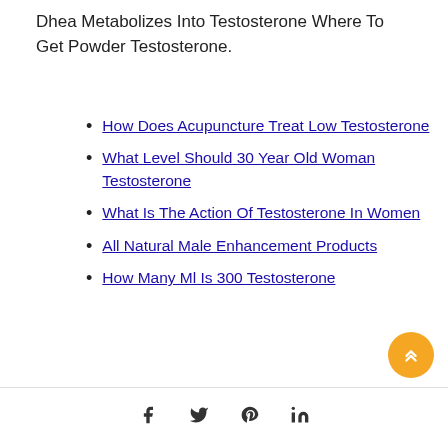Dhea Metabolizes Into Testosterone Where To Get Powder Testosterone.
How Does Acupuncture Treat Low Testosterone
What Level Should 30 Year Old Woman Testosterone
What Is The Action Of Testosterone In Women
All Natural Male Enhancement Products
How Many Ml Is 300 Testosterone
f  t  p  in